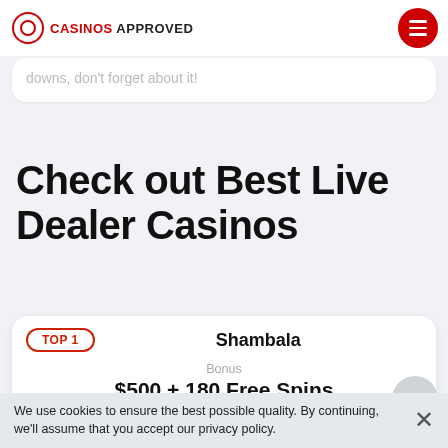CASINOS APPROVED
hoping your job to look like a professional... gambling has many ups and downs, don't forget about it!
Check out Best Live Dealer Casinos
TOP 1
Shambala
Bonus
$500 + 180 Free Spins
[Figure (logo): Shambala casino logo with orange trident symbol and SHAMBALA text in orange]
We use cookies to ensure the best possible quality. By continuing, we'll assume that you accept our privacy policy.